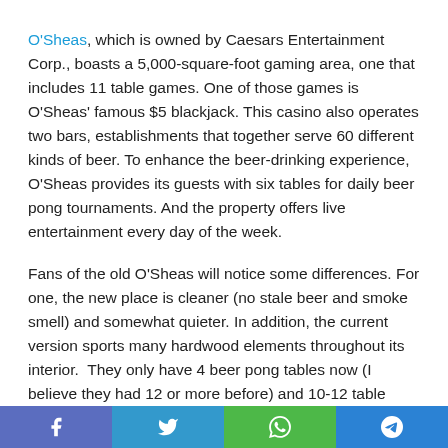O'Sheas, which is owned by Caesars Entertainment Corp., boasts a 5,000-square-foot gaming area, one that includes 11 table games. One of those games is O'Sheas' famous $5 blackjack. This casino also operates two bars, establishments that together serve 60 different kinds of beer. To enhance the beer-drinking experience, O'Sheas provides its guests with six tables for daily beer pong tournaments. And the property offers live entertainment every day of the week.
Fans of the old O'Sheas will notice some differences. For one, the new place is cleaner (no stale beer and smoke smell) and somewhat quieter. In addition, the current version sports many hardwood elements throughout its interior.  They only have 4 beer pong tables now (I believe they had 12 or more before) and 10-12 table games.  O'Sheas now has a massive beer
f  t  [whatsapp]  [telegram]